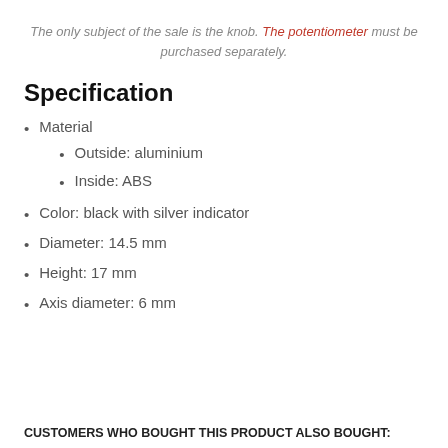The only subject of the sale is the knob. The potentiometer must be purchased separately.
Specification
Material
Outside: aluminium
Inside: ABS
Color: black with silver indicator
Diameter: 14.5 mm
Height: 17 mm
Axis diameter: 6 mm
CUSTOMERS WHO BOUGHT THIS PRODUCT ALSO BOUGHT: